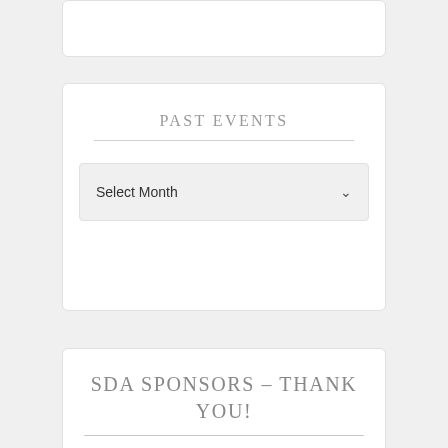PAST EVENTS
Select Month
SDA SPONSORS – THANK YOU!
Bow n Arrow Shop ★
Performance Archery ★